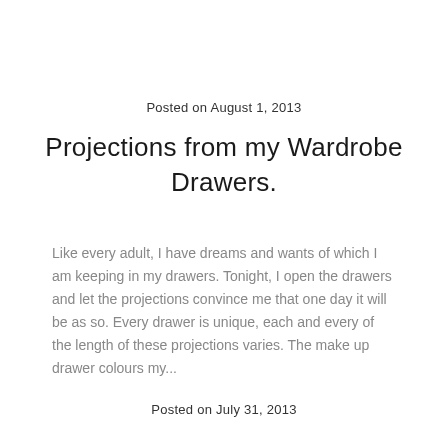Posted on August 1, 2013
Projections from my Wardrobe Drawers.
Like every adult, I have dreams and wants of which I am keeping in my drawers. Tonight, I open the drawers and let the projections convince me that one day it will be as so. Every drawer is unique, each and every of the length of these projections varies. The make up drawer colours my...
Posted on July 31, 2013